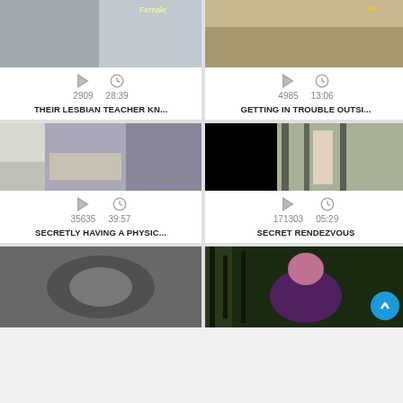[Figure (screenshot): Video grid thumbnail top-left, partial image visible at top]
2909  28:39
THEIR LESBIAN TEACHER KN...
[Figure (screenshot): Video grid thumbnail top-right, partial image visible at top]
4985  13:06
GETTING IN TROUBLE OUTSI...
[Figure (photo): Bedroom scene with person lying on bed]
35635  39:57
SECRETLY HAVING A PHYSIC...
[Figure (photo): Outdoor scene with person standing in forest]
171303  05:29
SECRET RENDEZVOUS
[Figure (photo): Close-up blurry grayscale image]
[Figure (photo): Purple costume scene with blue circle scroll button]